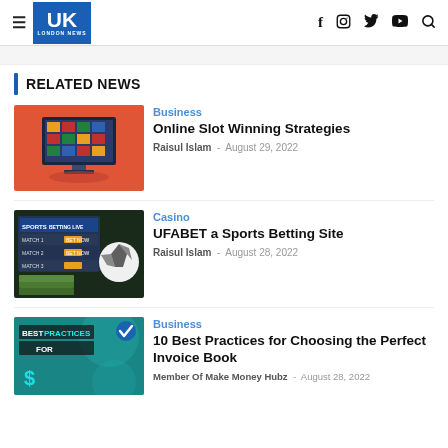UK London News — navigation header with hamburger menu, logo, and social icons (f, instagram, twitter, youtube, search)
RELATED NEWS
[Figure (illustration): Online slot machine displayed on a computer monitor with red background]
Business
Online Slot Winning Strategies
Raisul Islam - August 29, 2022
[Figure (photo): Sports betting live screen showing match betting options with a soccer ball and money in front, dark background]
Casino
UFABET a Sports Betting Site
Raisul Islam - August 28, 2022
[Figure (photo): Best Practices For text on teal/dark background]
Business
10 Best Practices for Choosing the Perfect Invoice Book
Member Of Make Money Hubz - August 28, 2022